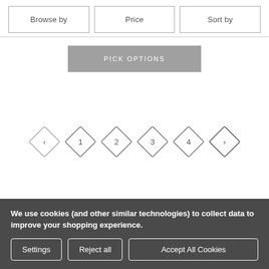[Figure (screenshot): Three navigation filter buttons: Browse by, Price, Sort by]
[Figure (screenshot): Pick Options button in gray]
[Figure (screenshot): Pagination controls with diamond shapes: previous, 1, 2, 3, 4, next]
We use cookies (and other similar technologies) to collect data to improve your shopping experience.
Settings | Reject all | Accept All Cookies